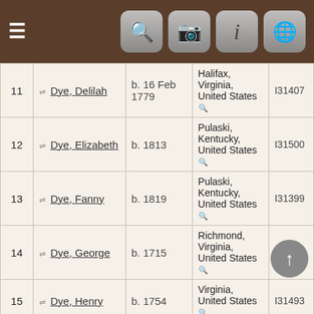[Figure (screenshot): Mobile app navigation header bar with hamburger menu and four icon buttons (search, camera, info, globe) on dark brown background]
| # | Name | Date | Location | ID |
| --- | --- | --- | --- | --- |
| 11 | Dye, Delilah | b. 16 Feb 1779 | Halifax, Virginia, United States | I31407 |
| 12 | Dye, Elizabeth | b. 1813 | Pulaski, Kentucky, United States | I31500 |
| 13 | Dye, Fanny | b. 1819 | Pulaski, Kentucky, United States | I31399 |
| 14 | Dye, George | b. 1715 | Richmond, Virginia, United States | I31499 |
| 15 | Dye, Henry | b. 1754 | Virginia, United States | I31493 |
| 16 | Dye, Henry | b. 1800 | Casey, North Carolina, United States | I31286 |
| 17 | Dye, Isaac |  | Pulaski |  |